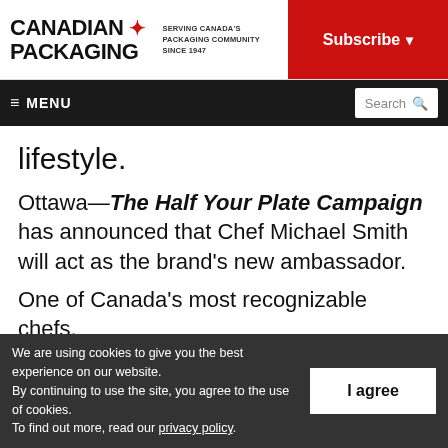CANADIAN PACKAGING — SERVING CANADA'S PACKAGING COMMUNITY SINCE 1947 | Subscribe
≡ MENU | Search
lifestyle.
Ottawa—The Half Your Plate Campaign has announced that Chef Michael Smith will act as the brand's new ambassador.
One of Canada's most recognizable chefs,
We are using cookies to give you the best experience on our website. By continuing to use the site, you agree to the use of cookies. To find out more, read our privacy policy.